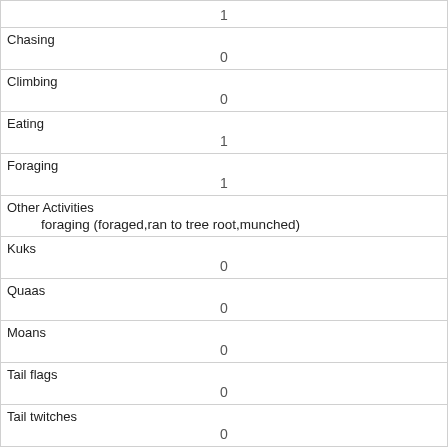|  | 1 |
| Chasing | 0 |
| Climbing | 0 |
| Eating | 1 |
| Foraging | 1 |
| Other Activities | foraging (foraged,ran to tree root,munched) |
| Kuks | 0 |
| Quaas | 0 |
| Moans | 0 |
| Tail flags | 0 |
| Tail twitches | 0 |